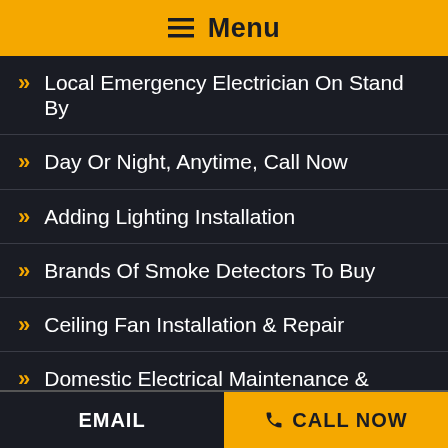☰ Menu
Local Emergency Electrician On Stand By
Day Or Night, Anytime, Call Now
Adding Lighting Installation
Brands Of Smoke Detectors To Buy
Ceiling Fan Installation & Repair
Domestic Electrical Maintenance & Repairs
EMAIL   ✆ CALL NOW